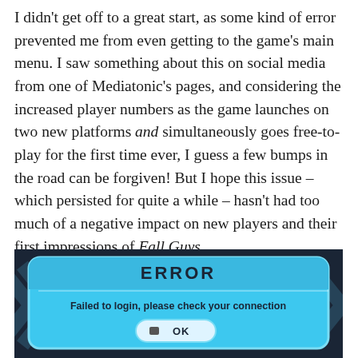I didn't get off to a great start, as some kind of error prevented me from even getting to the game's main menu. I saw something about this on social media from one of Mediatonic's pages, and considering the increased player numbers as the game launches on two new platforms and simultaneously goes free-to-play for the first time ever, I guess a few bumps in the road can be forgiven! But I hope this issue – which persisted for quite a while – hasn't had too much of a negative impact on new players and their first impressions of Fall Guys.
[Figure (screenshot): A screenshot of the Fall Guys game error dialog on a dark blue background. The dialog shows 'ERROR' in bold black uppercase letters on a light blue background, with the message 'Failed to login, please check your connection' and an 'OK' button below.]